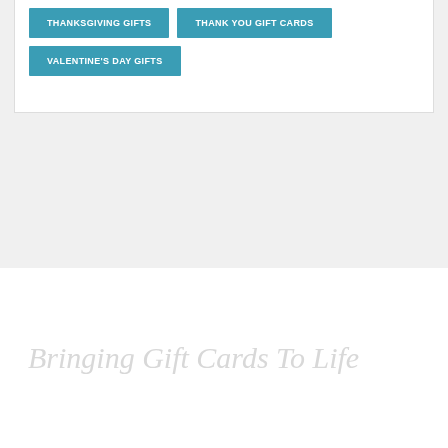THANKSGIVING GIFTS
THANK YOU GIFT CARDS
VALENTINE'S DAY GIFTS
Bringing Gift Cards To Life